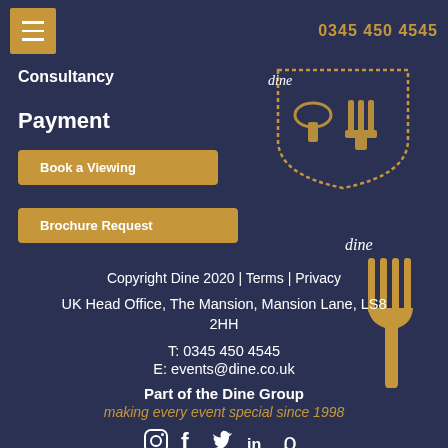0345 450 4545
Consultancy
Payment
Book a Viewing
Brochure Request
[Figure (logo): Dine restaurant logo: stylized fork and spoon icon in a shield/badge shape, gold on dark navy background]
Copyright Dine 2020 | Terms | Privacy
UK Head Office, The Mansion, Mansion Lane, LS8 2HH
T: 0345 450 4545
E: events@dine.co.uk
Part of the Dine Group
making every event special since 1998
Website by Agile Digital & SEO Forensics